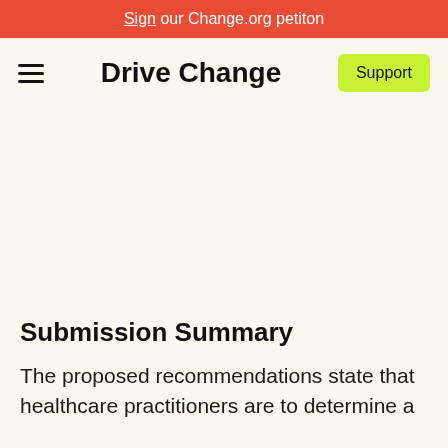Sign our Change.org petiton
Drive Change
Submission Summary
The proposed recommendations state that healthcare practitioners are to determine a